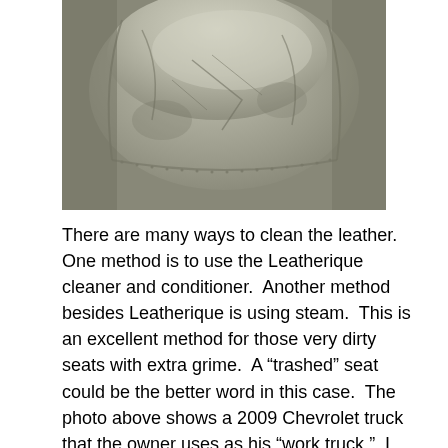[Figure (photo): Close-up photo of worn, dirty gray leather car seat showing creases, scratches, and grime on the surface.]
There are many ways to clean the leather.  One method is to use the Leatherique cleaner and conditioner.  Another method besides Leatherique is using steam.  This is an excellent method for those very dirty seats with extra grime.  A “trashed” seat could be the better word in this case.  The photo above shows a 2009 Chevrolet truck that the owner uses as his “work truck.”  I believe it’s safe to say the seats have never been cleaned.  Using steam has its advantages and disadvantages.  One must be careful not to go overboard and use too much